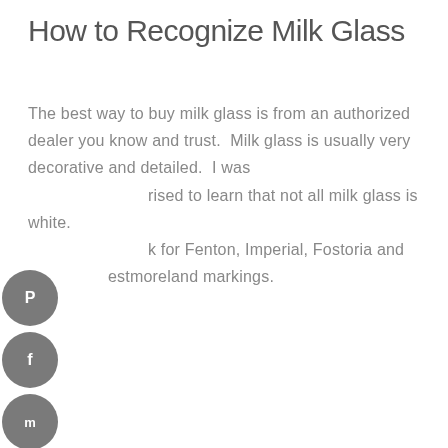How to Recognize Milk Glass
The best way to buy milk glass is from an authorized dealer you know and trust. Milk glass is usually very decorative and detailed. I was surprised to learn that not all milk glass is white. Look for Fenton, Imperial, Fostoria and Westmoreland markings.
[Figure (other): Four circular social media share buttons (Pinterest, Facebook, Mix, Twitter) stacked vertically on the left side]